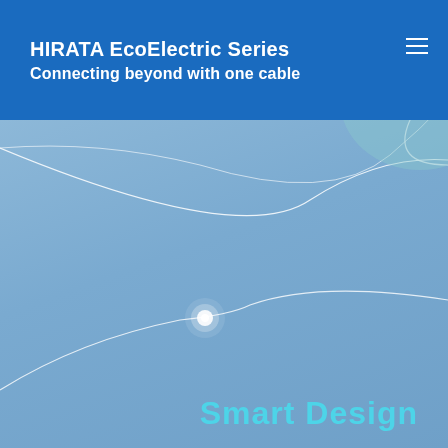HIRATA EcoElectric Series
Connecting beyond with one cable
[Figure (illustration): Blue gradient background with white curved decorative lines. A large arc curve sweeps from the upper right corner down to the center-left. A second smaller arc curve appears in the lower center area with a glowing white dot at its apex.]
Smart Design